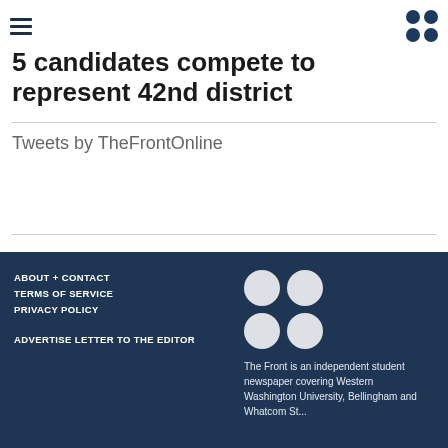5 candidates compete to represent 42nd district
Tweets by TheFrontOnline
ABOUT + CONTACT
TERMS OF SERVICE
PRIVACY POLICY
ADVERTISE
LETTER TO THE EDITOR
The Front is an independent student newspaper covering Western Washington University, Bellingham and Whatcom State...